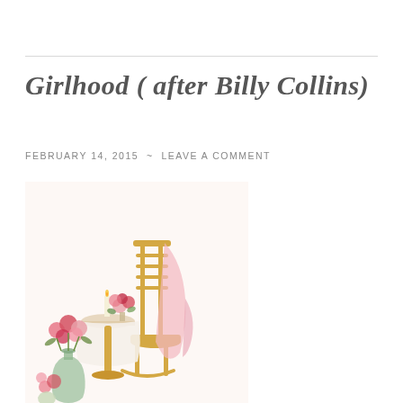Girlhood ( after Billy Collins)
FEBRUARY 14, 2015 ~ LEAVE A COMMENT
[Figure (illustration): A soft watercolor-style illustration of a cozy domestic scene: a rocking chair with a pink draped cloth, a small round table with lit candles and a bouquet of red and pink roses, and a vase of flowers on the floor. Warm golden and pastel tones throughout.]